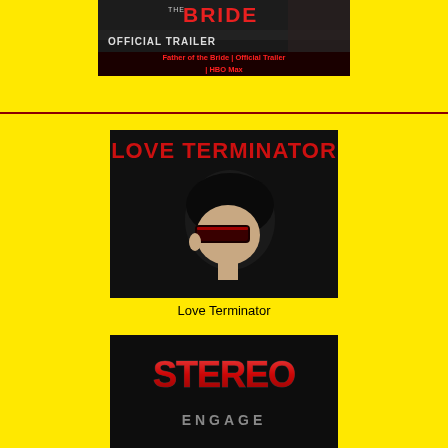[Figure (screenshot): Father of the Bride Official Trailer HBO Max thumbnail with red text overlay]
Father of the Bride | Official Trailer | HBO Max
[Figure (photo): Love Terminator album/movie cover showing a person with dark sunglasses, red text 'LOVE TERMINATOR' at top on dark background]
Love Terminator
[Figure (screenshot): Stereo Engage logo with red metallic stylized text on dark background]